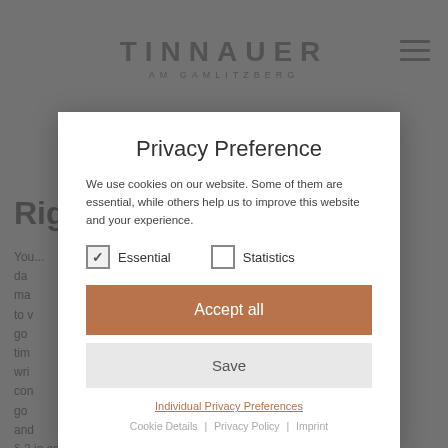TINNAUER AM GAMLITZBERG
Rig...
You... 4 da... e- ma... red to v... go... e tim... wri... con... go... and... 46 § 2 in conjunction with § 1 paragraph 1 and 2 EGBGB and our obligations under § 312g paragraph 1 sentence 1 BGB in conjunction with Article 246 § 3
Privacy Preference
We use cookies on our website. Some of them are essential, while others help us to improve this website and your experience.
Essential   Statistics
Accept all
Save
Individual Privacy Preferences
Cookie Details | Privacy Policy | Imprint